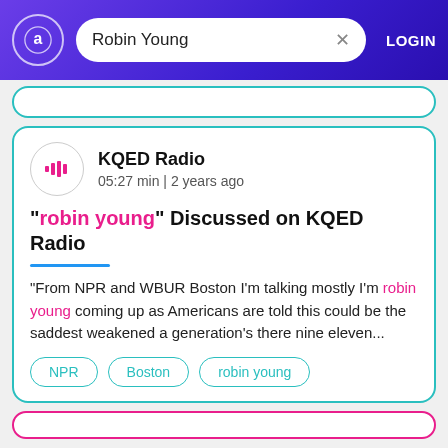Robin Young — LOGIN
KQED Radio
05:27 min | 2 years ago
"robin young" Discussed on KQED Radio
"From NPR and WBUR Boston I'm talking mostly I'm robin young coming up as Americans are told this could be the saddest weakened a generation's there nine eleven...
NPR
Boston
robin young